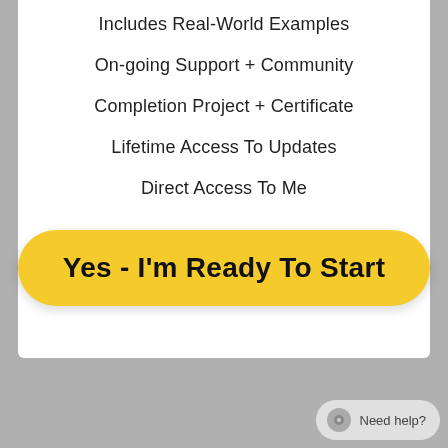Includes Real-World Examples
On-going Support + Community
Completion Project + Certificate
Lifetime Access To Updates
Direct Access To Me
[Figure (other): Yellow pill-shaped call-to-action button with bold text 'Yes - I'm Ready To Start']
Need help?